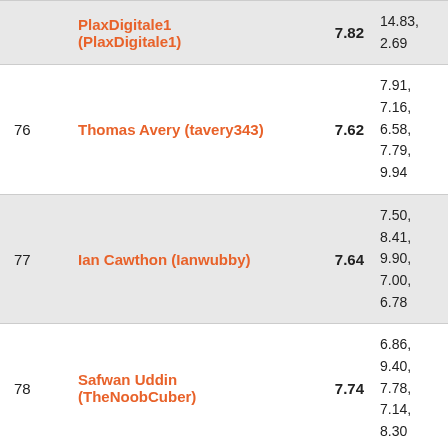| Rank | Name | Avg | Scores | Note |
| --- | --- | --- | --- | --- |
| 75 (partial) | PlaxDigitale1 (PlaxDigitale1) | 7.82 | 7.81, 14.83, 2.69 |  |
| 76 | Thomas Avery (tavery343) | 7.62 | 7.91, 7.16, 6.58, 7.79, 9.94 |  |
| 77 | Ian Cawthon (Ianwubby) | 7.64 | 7.50, 8.41, 9.90, 7.00, 6.78 | nice |
| 78 | Safwan Uddin (TheNoobCuber) | 7.74 | 6.86, 9.40, 7.78, 7.14, 8.30 |  |
| 79 | Graham Siggins (sigalig) | 7.86 | 6.24, 9.39, 7.95, 5.32 |  |